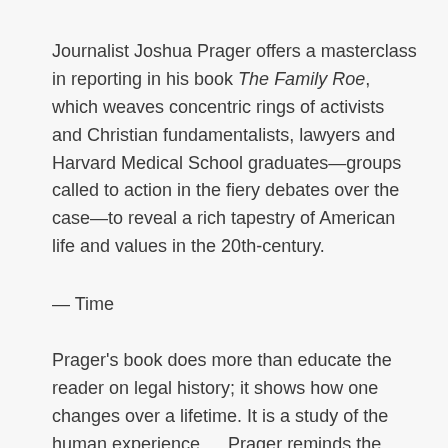Journalist Joshua Prager offers a masterclass in reporting in his book The Family Roe, which weaves concentric rings of activists and Christian fundamentalists, lawyers and Harvard Medical School graduates—groups called to action in the fiery debates over the case—to reveal a rich tapestry of American life and values in the 20th-century.
— Time
Prager's book does more than educate the reader on legal history; it shows how one changes over a lifetime. It is a study of the human experience…. Prager reminds the reader that stances on abortion can be as fluid and complex as the generations-long battle over it. He offers no hint of his own political standing and ultimately leaves his complete history of Roe open to every reader.